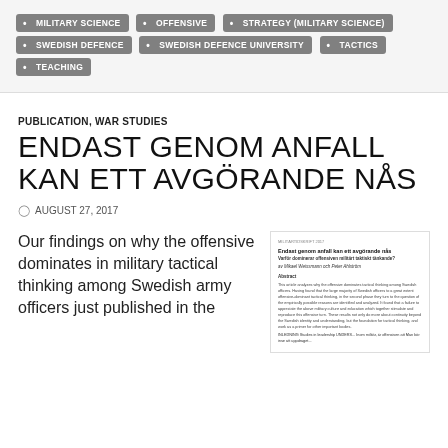MILITARY SCIENCE
OFFENSIVE
STRATEGY (MILITARY SCIENCE)
SWEDISH DEFENCE
SWEDISH DEFENCE UNIVERSITY
TACTICS
TEACHING
PUBLICATION, WAR STUDIES
ENDAST GENOM ANFALL KAN ETT AVGÖRANDE NÅS
AUGUST 27, 2017
Our findings on why the offensive dominates in military tactical thinking among Swedish army officers just published in the
[Figure (screenshot): Preview of the article 'Endast genom anfall kan ett avgörande nås' showing title, subtitle, author names (Mikael Weissmann och Peter Ahlström), abstract section, and body text in Swedish.]